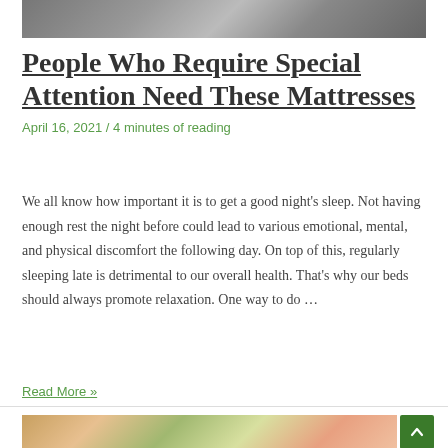[Figure (photo): Partial photo of a person on a sofa or mattress, cropped at top]
People Who Require Special Attention Need These Mattresses
April 16, 2021 / 4 minutes of reading
We all know how important it is to get a good night’s sleep. Not having enough rest the night before could lead to various emotional, mental, and physical discomfort the following day. On top of this, regularly sleeping late is detrimental to our overall health. That’s why our beds should always promote relaxation. One way to do …
Read More »
[Figure (photo): Partial photo of food items, cropped at bottom of page]